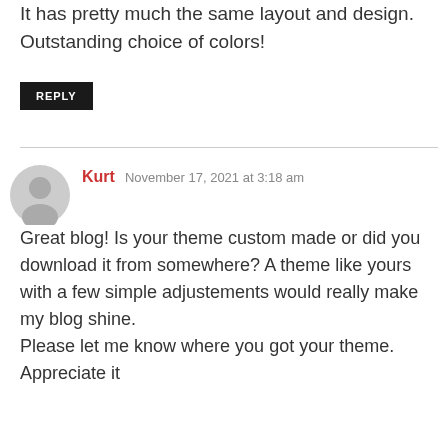It has pretty much the same layout and design. Outstanding choice of colors!
REPLY
Kurt  November 17, 2021 at 3:18 am
Great blog! Is your theme custom made or did you download it from somewhere? A theme like yours with a few simple adjustements would really make my blog shine.
Please let me know where you got your theme. Appreciate it